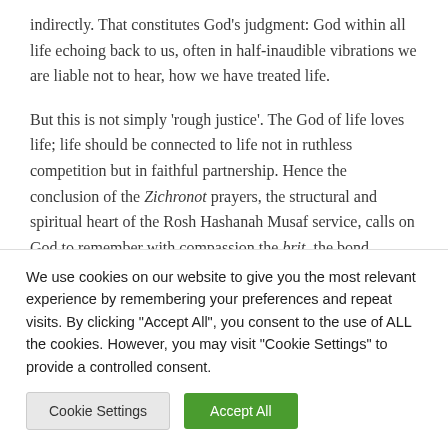indirectly. That constitutes God's judgment: God within all life echoing back to us, often in half-inaudible vibrations we are liable not to hear, how we have treated life.
But this is not simply 'rough justice'. The God of life loves life; life should be connected to life not in ruthless competition but in faithful partnership. Hence the conclusion of the Zichronot prayers, the structural and spiritual heart of the Rosh Hashanah Musaf service, calls on God to remember with compassion the brit, the bond
We use cookies on our website to give you the most relevant experience by remembering your preferences and repeat visits. By clicking "Accept All", you consent to the use of ALL the cookies. However, you may visit "Cookie Settings" to provide a controlled consent.